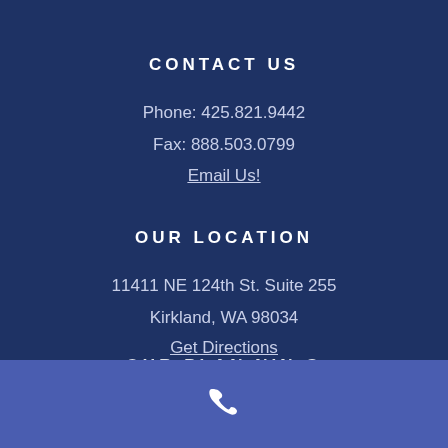CONTACT US
Phone: 425.821.9442
Fax: 888.503.0799
Email Us!
OUR LOCATION
11411 NE 124th St. Suite 255
Kirkland, WA 98034
Get Directions
[Figure (other): Partial section header text partially visible at bottom of main content area]
[Figure (other): Phone handset icon (white) centered in a medium blue footer bar]